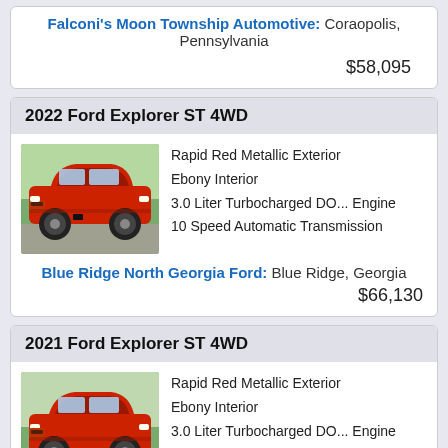Falconi's Moon Township Automotive: Coraopolis, Pennsylvania
$58,095
2022 Ford Explorer ST 4WD
[Figure (photo): Red 2022 Ford Explorer ST 4WD SUV photographed outdoors]
Rapid Red Metallic Exterior
Ebony Interior
3.0 Liter Turbocharged DO... Engine
10 Speed Automatic Transmission
Blue Ridge North Georgia Ford: Blue Ridge, Georgia
$66,130
2021 Ford Explorer ST 4WD
[Figure (photo): Red 2021 Ford Explorer ST 4WD SUV photographed outdoors]
Rapid Red Metallic Exterior
Ebony Interior
3.0 Liter Turbocharged DO... Engine
10 Speed Automatic Transmission
Blue Ridge North Georgia Ford: Blue Ridge, Georgia